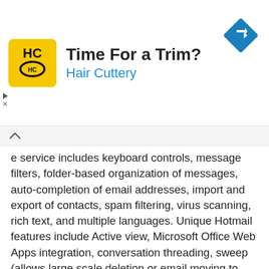[Figure (infographic): Advertisement banner for Hair Cuttery with yellow logo showing 'HC', title 'Time For a Trim?' and subtitle 'Hair Cuttery' in blue, plus a blue navigation arrow icon on the right.]
e service includes keyboard controls, message filters, folder-based organization of messages, auto-completion of email addresses, import and export of contacts, spam filtering, virus scanning, rich text, and multiple languages. Unique Hotmail features include Active view, Microsoft Office Web Apps integration, conversation threading, sweep (allows large scale deletion or email moving to folders), quick views, aliases, categories, and instant actions. The instant action features allow users to predefine tasks such as moving, sweeping, deleting, or flagging messages to minimize the steps required to clean-up an email account. The free version of Hotmail displays ads which can be removed by subscribing to the premium Hotmail service. Both variants of Hotmail feature unlimited storage which starts out at 25 GB (free service) and 50 GB respectfully and are increased based on demand.